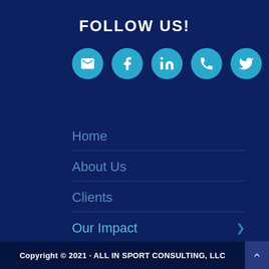FOLLOW US!
[Figure (infographic): Row of 5 social media icon circles: email, Facebook, LinkedIn, phone, Twitter]
Home
About Us
Clients
Our Impact
Contact Us
Copyright © 2021 · ALL IN SPORT CONSULTING, LLC